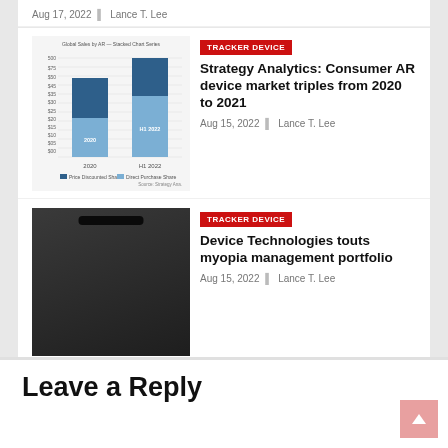Aug 17, 2022 | Lance T. Lee
[Figure (bar-chart): Stacked bar chart showing Consumer AR device market data for 2020 and H1 2022, with two series: Price Discounted Share and Direct Purchase Share. Source: Strategy Ana.]
TRACKER DEVICE
Strategy Analytics: Consumer AR device market triples from 2020 to 2021
Aug 15, 2022 | Lance T. Lee
[Figure (photo): Dark device with a camera slot visible at the top, likely a tablet or medical device.]
TRACKER DEVICE
Device Technologies touts myopia management portfolio
Aug 15, 2022 | Lance T. Lee
Leave a Reply